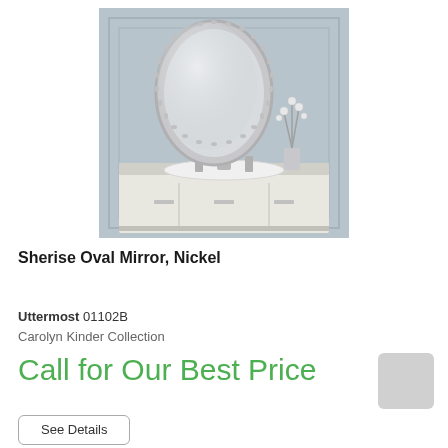[Figure (photo): A decorative oval mirror with a nickel/silver beaded frame mounted on a light gray paneled wall above an elegant white vanity with chrome faucets and a glass vase with white flowers.]
Sherise Oval Mirror, Nickel
Uttermost 01102B
Carolyn Kinder Collection
Call for Our Best Price
See Details